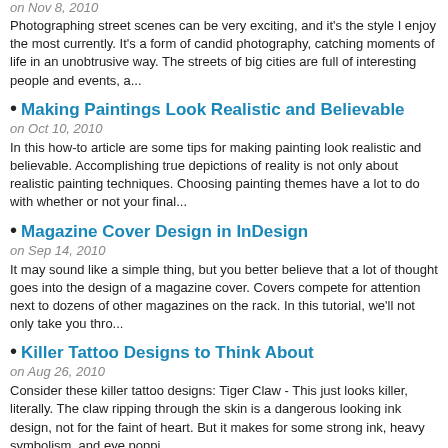on Nov 8, 2010
Photographing street scenes can be very exciting, and it's the style I enjoy the most currently. It's a form of candid photography, catching moments of life in an unobtrusive way. The streets of big cities are full of interesting people and events, a...
Making Paintings Look Realistic and Believable
on Oct 10, 2010
In this how-to article are some tips for making painting look realistic and believable. Accomplishing true depictions of reality is not only about realistic painting techniques. Choosing painting themes have a lot to do with whether or not your final...
Magazine Cover Design in InDesign
on Sep 14, 2010
It may sound like a simple thing, but you better believe that a lot of thought goes into the design of a magazine cover. Covers compete for attention next to dozens of other magazines on the rack. In this tutorial, we'll not only take you thro...
Killer Tattoo Designs to Think About
on Aug 26, 2010
Consider these killer tattoo designs: Tiger Claw - This just looks killer, literally. The claw ripping through the skin is a dangerous looking ink design, not for the faint of heart. But it makes for some strong ink, heavy symbolism, and eye poppi...
Ways to Improve Your Photography Skills
on Aug 18, 2010
Join a Photography Club: One of the best ways to improve your skills for any specific hobby is to surround yourself with fellow enthusiasts. By joining a photography club in the QLD, Australia area you will be able to connect with fellow photo...